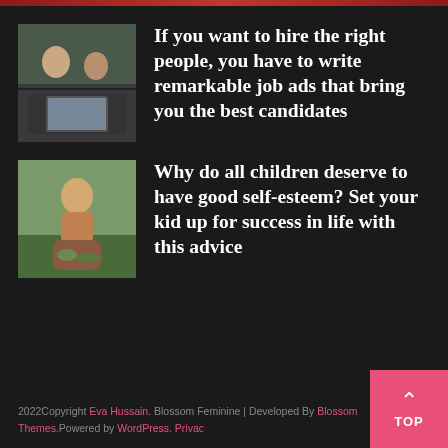[Figure (photo): Two women sitting at a table with a laptop, appearing to work together]
If you want to hire the right people, you have to write remarkable job ads that bring you the best candidates
[Figure (photo): A young child smiling outdoors, sitting on a playground structure]
Why do all children deserve to have good self-esteem? Set your kid up for success in life with this advice
2022Copyright Eva Hussain. Blossom Feminine | Developed By Blossom Themes.Powered by WordPress. Privacy